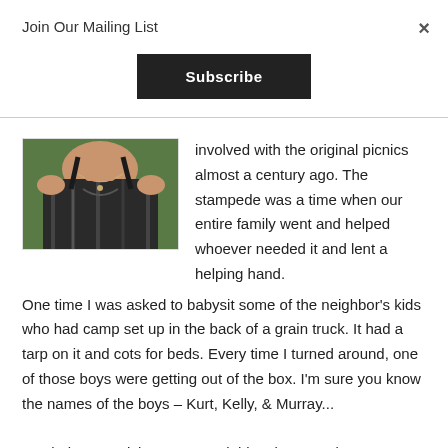Join Our Mailing List
×
Subscribe
[Figure (photo): A woman wearing a dark patterned top with spaghetti straps and a necklace, photographed from the shoulders up against a green outdoor background.]
involved with the original picnics almost a century ago. The stampede was a time when our entire family went and helped whoever needed it and lent a helping hand. One time I was asked to babysit some of the neighbor's kids who had camp set up in the back of a grain truck. It had a tarp on it and cots for beds. Every time I turned around, one of those boys were getting out of the box. I'm sure you know the names of the boys – Kurt, Kelly, & Murray...
My dad was a pick-up man and this role passed onto my brothers who did it for many years. I worked in the home-school